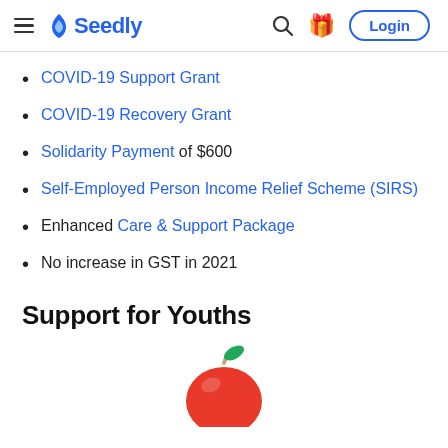Seedly — Login
COVID-19 Support Grant
COVID-19 Recovery Grant
Solidarity Payment of $600
Self-Employed Person Income Relief Scheme (SIRS)
Enhanced Care & Support Package
No increase in GST in 2021
Support for Youths
[Figure (illustration): A red apple with a yellow-brown stem and green leaf, partially visible at the bottom of the page.]